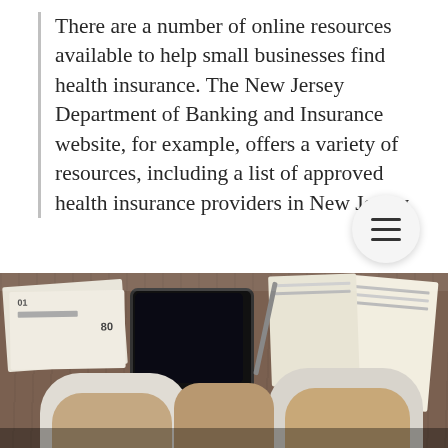There are a number of online resources available to help small businesses find health insurance. The New Jersey Department of Banking and Insurance website, for example, offers a variety of resources, including a list of approved health insurance providers in New Jersey.
By following these tips, you can find the right health insurance for your small business in New Jersey.
[Figure (photo): Overhead view of two people bumping fists over a wooden desk covered with papers, a tablet, a calculator, and various documents.]